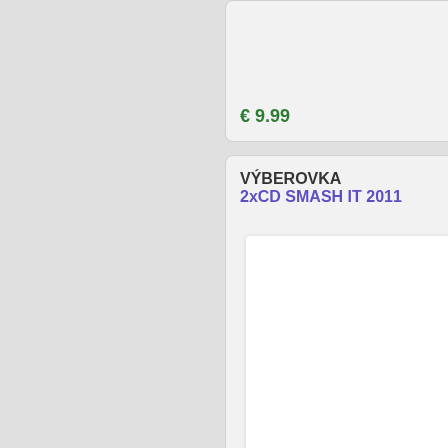€ 9.99
[Figure (screenshot): Shopping cart icon with green plus button]
VÝBEROVKA
2xCD SMASH IT 2011
[Figure (photo): Album cover image (white/blank rectangle)]
Na objednávku +kuriér zadarmo
2011.  - benny benassi feat.  Kelis, apl.  De.  Ap & jean-baptiste - space,matt caseli & danny freakazoid - sign your name (across my h,kelly rowland featuring david guetta - ..
€ 44.98
[Figure (screenshot): Shopping cart icon with green plus button]